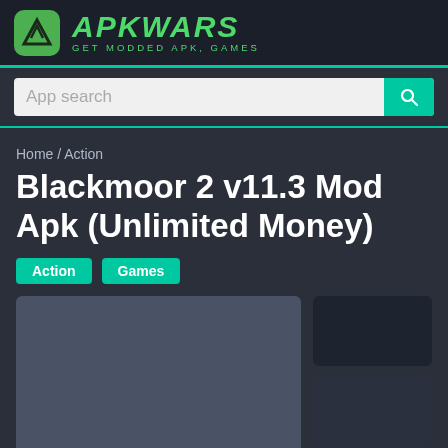APKWARS GET MODDED APK, GAMES
App search
Home / Action
Blackmoor 2 v11.3 Mod Apk (Unlimited Money)
Action
Games
[Figure (screenshot): App screenshot placeholder - large left image]
[Figure (screenshot): App screenshot placeholder - small top right image]